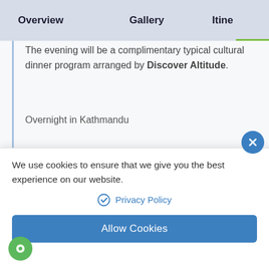Overview  Gallery  Itine
The evening will be a complimentary typical cultural dinner program arranged by Discover Altitude.
Overnight in Kathmandu
Day 2: Drive or Fly from Kathmandu to Pokhara
Day 3: Fly from Pokhara to Jomsom and hike to Kagbeni
We use cookies to ensure that we give you the best experience on our website.
Privacy Policy
Allow Cookies